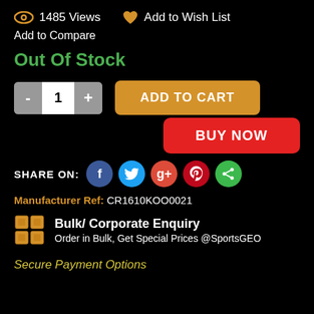1485 Views   Add to Wish List
Add to Compare
Out Of Stock
1  ADD TO CART
BUY NOW
SHARE ON:
Manufacturer Ref: CR1610KOO0021
Bulk/ Corporate Enquiry
Order in Bulk, Get Special Prices @SportsGEO
Secure Payment Options